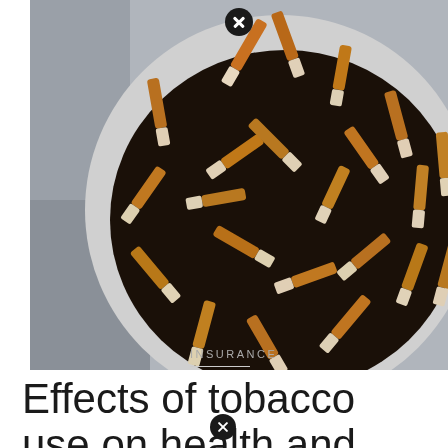[Figure (photo): Overhead view of a metal bowl or ashtray filled with many cigarette butts, shot from above on a grey background.]
INSURANCE
Effects of tobacco use on health and life insurance